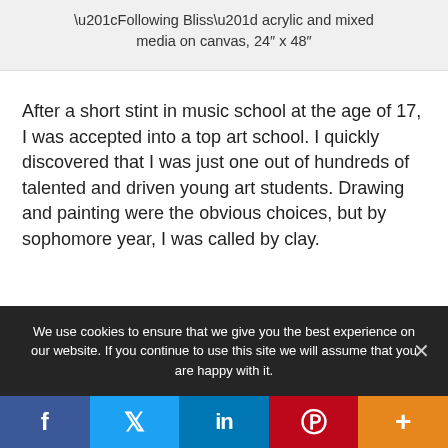“Following Bliss” acrylic and mixed media on canvas, 24″ x 48″
After a short stint in music school at the age of 17, I was accepted into a top art school. I quickly discovered that I was just one out of hundreds of talented and driven young art students. Drawing and painting were the obvious choices, but by sophomore year, I was called by clay.
We use cookies to ensure that we give you the best experience on our website. If you continue to use this site we will assume that you are happy with it.